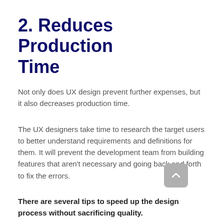2. Reduces Production Time
Not only does UX design prevent further expenses, but it also decreases production time.
The UX designers take time to research the target users to better understand requirements and definitions for them. It will prevent the development team from building features that aren't necessary and going back and forth to fix the errors.
There are several tips to speed up the design process without sacrificing quality.
Create a vision. Use a storyboard or video to